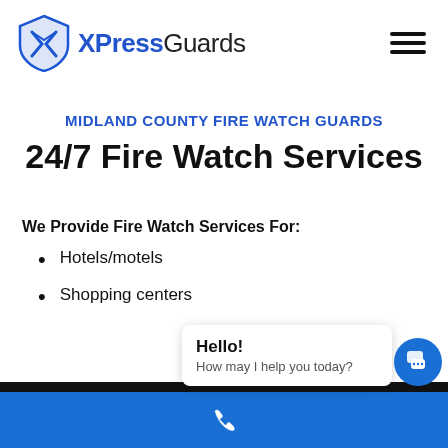XPressGuards
MIDLAND COUNTY FIRE WATCH GUARDS
24/7 Fire Watch Services
We Provide Fire Watch Services For:
Hotels/motels
Shopping centers
Hello! How may I help you today?